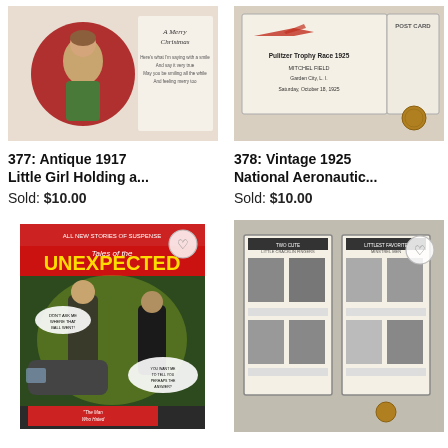[Figure (photo): Antique 1917 Christmas postcard with little girl holding a candy cane, Santa in background, 'A Merry Christmas' text with verse]
[Figure (photo): Vintage 1925 National Aeronautic Pulitzer Trophy Race postcard from Mitchel Field, Garden City L.I., Saturday October 18 1925, with coin for scale]
377: Antique 1917 Little Girl Holding a...
378: Vintage 1925 National Aeronautic...
Sold: $10.00
Sold: $10.00
[Figure (photo): Vintage DC comic book 'Tales of the Unexpected' featuring 'The Man Who Hated Baseball' story with dramatic noir cover art]
[Figure (photo): Vintage paper collectible/booklet showing two pages with black and white photos labeled 'Two Cute Little Cracklin Fingers' and 'Littlest Favorite Minstrel Men' with coin for scale]